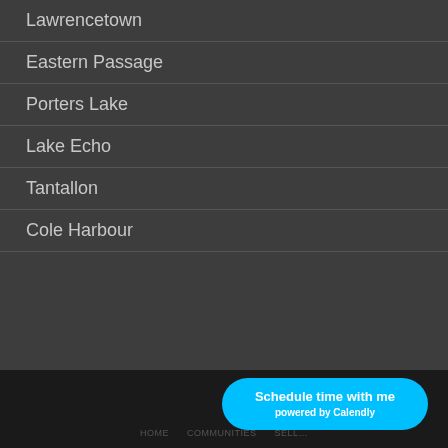Lawrencetown
Eastern Passage
Porters Lake
Lake Echo
Tantallon
Cole Harbour
Schedule time with me powered by Calendly
HOME   COMMUNITIES   SELL…